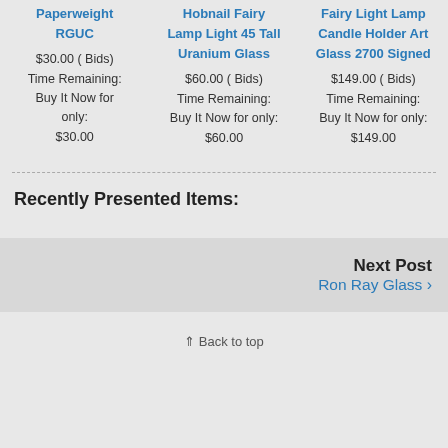Paperweight RGUC
$30.00 ( Bids)
Time Remaining:
Buy It Now for only:
$30.00
Hobnail Fairy Lamp Light 45 Tall Uranium Glass
$60.00 ( Bids)
Time Remaining:
Buy It Now for only:
$60.00
Fairy Light Lamp Candle Holder Art Glass 2700 Signed
$149.00 ( Bids)
Time Remaining:
Buy It Now for only:
$149.00
Recently Presented Items:
Next Post
Ron Ray Glass ›
⇑ Back to top